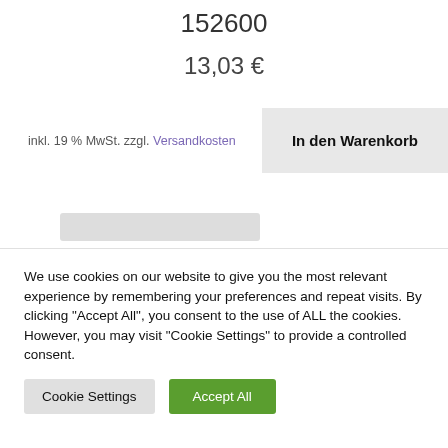152600
13,03 €
inkl. 19 % MwSt. zzgl. Versandkosten
In den Warenkorb
We use cookies on our website to give you the most relevant experience by remembering your preferences and repeat visits. By clicking "Accept All", you consent to the use of ALL the cookies. However, you may visit "Cookie Settings" to provide a controlled consent.
Cookie Settings
Accept All